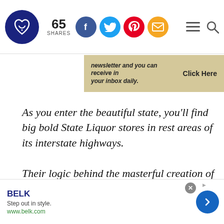65 SHARES
[Figure (screenshot): Website header with logo, share count (65 SHARES), social media icons (Facebook, Twitter, Pinterest, Email), hamburger menu and search icons]
[Figure (screenshot): Tan/beige banner advertisement: 'newsletter and you can receive in your inbox daily. Click Here']
As you enter the beautiful state, you'll find big bold State Liquor stores in rest areas of its interstate highways.
Their logic behind the masterful creation of the states, appropriately named "Alcohol Fund", makes about as much sense as building a crack
[Figure (screenshot): Bottom advertisement banner: BELK - Step out in style. www.belk.com with blue arrow button and close X button]